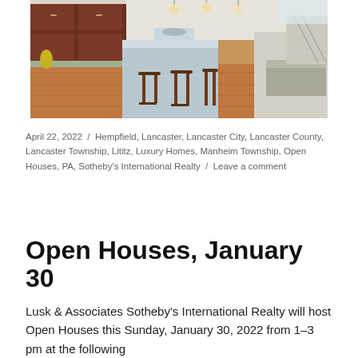[Figure (photo): Interior photo of a modern kitchen with dark wood cabinets, a light blue/grey island with bar stools, hardwood floors, and an open living area in the background.]
April 22, 2022  /  Hempfield, Lancaster, Lancaster City, Lancaster County, Lancaster Township, Lititz, Luxury Homes, Manheim Township, Open Houses, PA, Sotheby's International Realty  /  Leave a comment
Open Houses, January 30
Lusk & Associates Sotheby's International Realty will host Open Houses this Sunday, January 30, 2022 from 1–3 pm at the following...